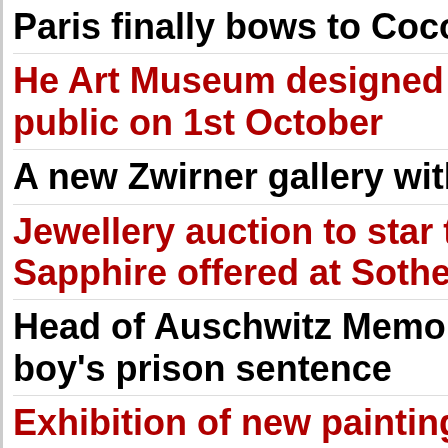Paris finally bows to Coco
He Art Museum designed by... public on 1st October
A new Zwirner gallery with
Jewellery auction to star th... Sapphire offered at Sotheb
Head of Auschwitz Memorial... boy's prison sentence
Exhibition of new paintings